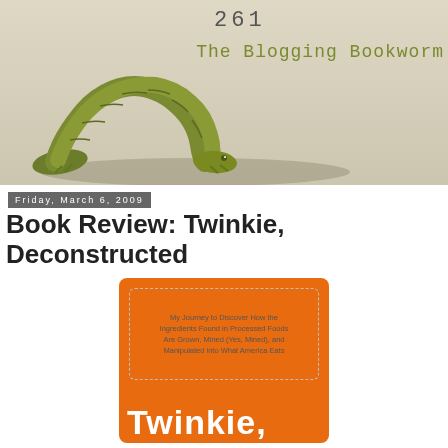[Figure (photo): Blog header banner showing a green inchworm/caterpillar on a beige background with the number 261 and the blog name 'The Blogging Bookworm' in olive green courier font]
Friday, March 6, 2009
Book Review: Twinkie, Deconstructed
[Figure (photo): Book cover of 'Twinkie, Deconstructed' on an orange background with a dashed rounded rectangle containing subtitle text: 'My Journey to Discover How the Ingredients Found in Processed Foods Are Grown, Mined (Yes, Mined), and Manipulated into What America Eats' and large white bold text 'Twinkie,' at the bottom]